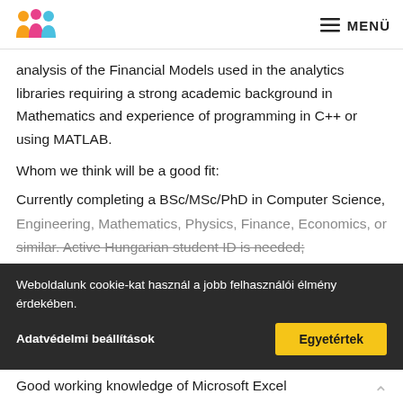MENÜ
analysis of the Financial Models used in the analytics libraries requiring a strong academic background in Mathematics and experience of programming in C++ or using MATLAB.
Whom we think will be a good fit:
Currently completing a BSc/MSc/PhD in Computer Science, Engineering, Mathematics, Physics, Finance, Economics, or similar. Active Hungarian student ID is needed;
Excellent command of English.
Weboldalunk cookie-kat használ a jobb felhasználói élmény érdekében.
Adatvédelmi beállítások
Egyetértek
Good working knowledge of Microsoft Excel